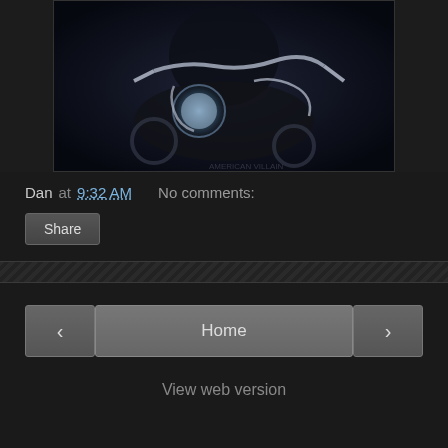[Figure (photo): Dark photo of a person on a motorcycle with chrome details, handlebars visible, dark moody lighting]
Dan at 9:32 AM    No comments:
Share
‹
Home
›
View web version